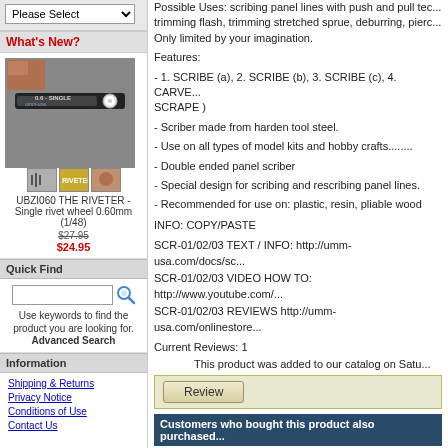Please Select
What's New?
[Figure (photo): UBZI060 THE RIVETER - Single rivet wheel 0.60mm (1/48) product image showing a scriber tool and accessories]
UBZI060 THE RIVETER - Single rivet wheel 0.60mm (1/48)
$27.95 $24.95
Quick Find
Use keywords to find the product you are looking for. Advanced Search
Information
Shipping & Returns
Privacy Notice
Conditions of Use
Contact Us
Possible Uses: scribing panel lines with push and pull technique, trimming flash, trimming stretched sprue, deburring, piercing... Only limited by your imagination.
Features:
- 1. SCRIBE (a), 2. SCRIBE (b), 3. SCRIBE (c), 4. CARVE... SCRAPE )
- Scriber made from harden tool steel.
- Use on all types of model kits and hobby crafts........
- Double ended panel scriber
- Special design for scribing and rescribing panel lines.
- Recommended for use on: plastic, resin, pliable wood
INFO: COPY/PASTE
SCR-01/02/03 TEXT / INFO: http://umm-usa.com/docs/sc...
SCR-01/02/03 VIDEO HOW TO: http://www.youtube.com/...
SCR-01/02/03 REVIEWS http://umm-usa.com/onlinestore...
Current Reviews: 1
This product was added to our catalog on Satu...
Review
Customers who bought this product also purchased...
[Figure (photo): Blue tool/accessory product thumbnail]
[Figure (photo): Dark background model/miniature product thumbnail]